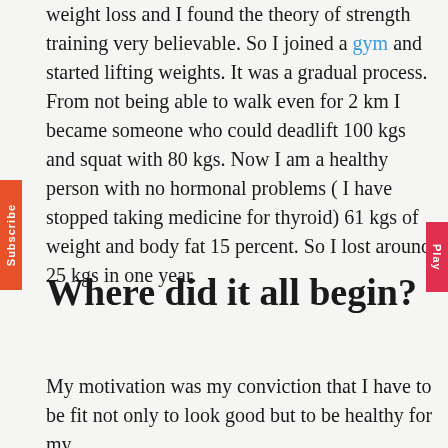weight loss and I found the theory of strength training very believable. So I joined a gym and started lifting weights. It was a gradual process. From not being able to walk even for 2 km I became someone who could deadlift 100 kgs and squat with 80 kgs. Now I am a healthy person with no hormonal problems ( I have stopped taking medicine for thyroid) 61 kgs of weight and body fat 15 percent. So I lost around 25 kgs in one year.
Where did it all begin?
My motivation was my conviction that I have to be fit not only to look good but to be healthy for my